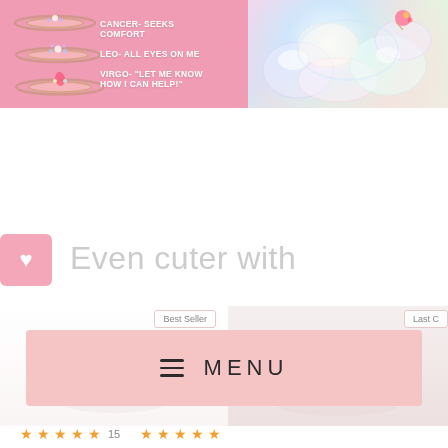[Figure (photo): Left panel: pink background with zodiac rings and white text overlay showing Cancer, Leo, Virgo zodiac signs with descriptions. Right panel: close-up of iridescent crystals with pink/gold jewel charm.]
CANCER- SEEKS COMFORT
LEO- ALL EYES ON ME
VIRGO- "LET ME KNOW HOW I CAN HELP!"
[Figure (screenshot): Heart/wishlist button (pink square with white heart icon)]
Even cuter with
[Figure (photo): Product section: Best Seller tag on left with stacked rings product image. Last C[hance] tag on right with another product partially visible.]
Best Seller
Last C
[Figure (other): MENU navigation bar with hamburger icon and MENU text on pink/rose background]
MENU
15